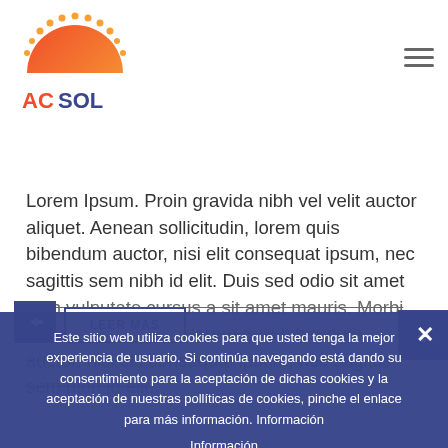AC SOL
05 ABR. TEXT BLOG POST
Lorem Ipsum. Proin gravida nibh vel velit auctor aliquet. Aenean sollicitudin, lorem quis bibendum auctor, nisi elit consequat ipsum, nec sagittis sem nibh id elit. Duis sed odio sit amet nibh vulputate cursus a sit amet mauris. Morbi accumsan ipsum velit. Aenean sollicitudin, lorem quis bibendum auctor, nisi elit consequat ipsum, nec sagittis sem nibh id elit.
Este sitio web utiliza cookies para que usted tenga la mejor experiencia de usuario. Si continúa navegando está dando su consentimiento para la aceptación de dichas cookies y la aceptación de nuestras políticas de cookies, pinche el enlace para más información. Información
ACEPTAR COOKIES    Información